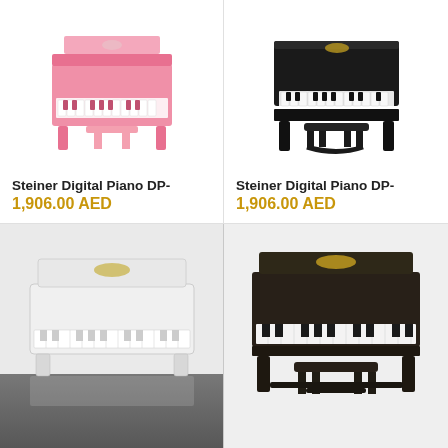[Figure (photo): Pink digital piano with bench, Steiner brand, front view]
Steiner Digital Piano DP-
1,906.00 AED
[Figure (photo): Black digital piano with bench, Steiner brand, front view]
Steiner Digital Piano DP-
1,906.00 AED
[Figure (photo): White digital piano, Steiner brand, front view, dark reflective floor]
[Figure (photo): Black digital piano with bench, different model, front view on grey background]